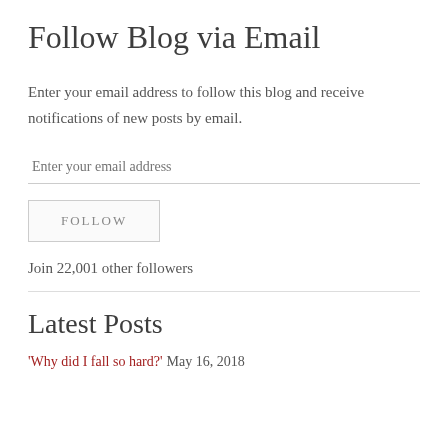Follow Blog via Email
Enter your email address to follow this blog and receive notifications of new posts by email.
Join 22,001 other followers
Latest Posts
'Why did I fall so hard?' May 16, 2018